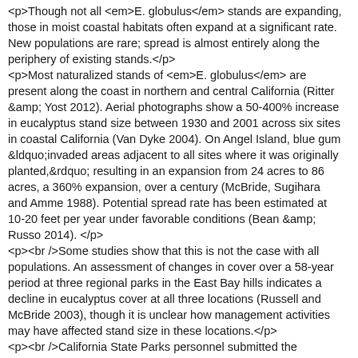<p>Though not all <em>E. globulus</em> stands are expanding, those in moist coastal habitats often expand at a significant rate. New populations are rare; spread is almost entirely along the periphery of existing stands.</p>
<p>Most naturalized stands of <em>E. globulus</em> are present along the coast in northern and central California (Ritter &amp; Yost 2012). Aerial photographs show a 50-400% increase in eucalyptus stand size between 1930 and 2001 across six sites in coastal California (Van Dyke 2004). On Angel Island, blue gum &ldquo;invaded areas adjacent to all sites where it was originally planted,&rdquo; resulting in an expansion from 24 acres to 86 acres, a 360% expansion, over a century (McBride, Sugihara and Amme 1988). Potential spread rate has been estimated at 10-20 feet per year under favorable conditions (Bean &amp; Russo 2014).</p>
<p><br />Some studies show that this is not the case with all populations. An assessment of changes in cover over a 58-year period at three regional parks in the East Bay hills indicates a decline in eucalyptus cover at all three locations (Russell and McBride 2003), though it is unclear how management activities may have affected stand size in these locations.</p>
<p><br />California State Parks personnel submitted the following recent reports:</p>
<ul>
<li>Tim Hyland (2014) in the Santa Cruz District reports that coastal units have E. globulus patches that have moved into riparian, coastal prairie, and coastal scrub habitats. Two units have